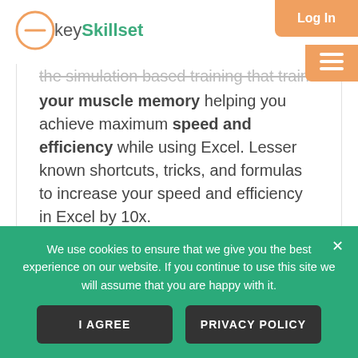keySkillset | Log In
the simulation based training that trains your muscle memory helping you achieve maximum speed and efficiency while using Excel. Lesser known shortcuts, tricks, and formulas to increase your speed and efficiency in Excel by 10x.
FREE GAME
BUY NOW
We use cookies to ensure that we give you the best experience on our website. If you continue to use this site we will assume that you are happy with it.
I AGREE
PRIVACY POLICY